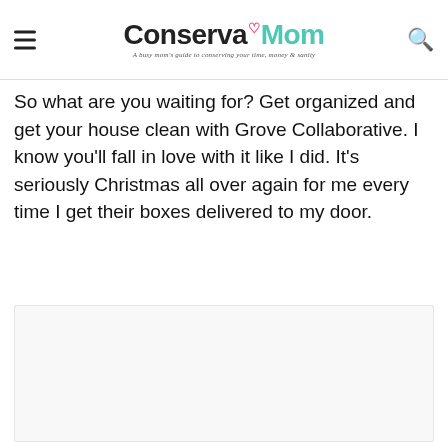ConservaMom — A busy mom's guide to conserving your time, money & sanity
So what are you waiting for? Get organized and get your house clean with Grove Collaborative. I know you'll fall in love with it like I did. It's seriously Christmas all over again for me every time I get their boxes delivered to my door.